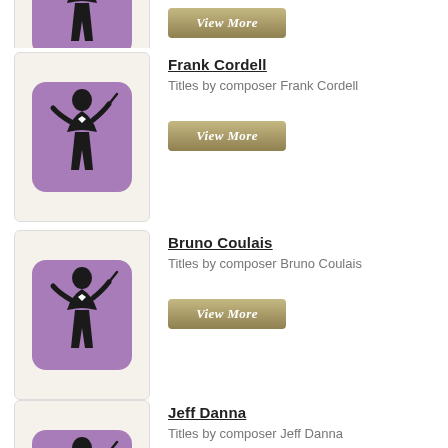[Figure (illustration): Conductor silhouette icon on purple rounded square background (partial, top cut off)]
[Figure (other): View More button (tan/gold gradient)]
Frank Cordell
Titles by composer Frank Cordell
[Figure (illustration): Conductor silhouette icon on purple rounded square background]
[Figure (other): View More button (tan/gold gradient)]
Bruno Coulais
Titles by composer Bruno Coulais
[Figure (illustration): Conductor silhouette icon on purple rounded square background]
[Figure (other): View More button (tan/gold gradient)]
Jeff Danna
Titles by composer Jeff Danna
[Figure (illustration): Conductor silhouette icon on purple rounded square background (partial, bottom cut off)]